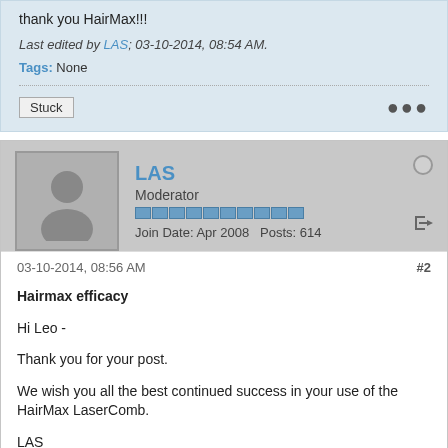thank you HairMax!!!
Last edited by LAS; 03-10-2014, 08:54 AM.
Tags: None
Stuck
LAS
Moderator
Join Date: Apr 2008  Posts: 614
03-10-2014, 08:56 AM
#2
Hairmax efficacy
Hi Leo -
Thank you for your post.
We wish you all the best continued success in your use of the HairMax LaserComb.
LAS